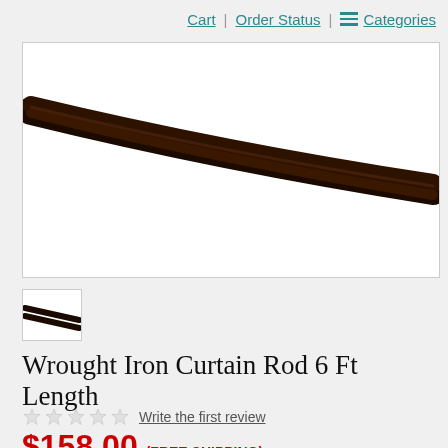Cart | Order Status | Categories
[Figure (photo): Close-up photo of a wrought iron curtain rod on white background, showing a dark brown/black metal rod angled from upper-left to lower-right]
[Figure (photo): Small thumbnail image of the wrought iron curtain rod, showing two parallel dark lines on white background]
Wrought Iron Curtain Rod 6 Ft Length
Write the first review
$158.00 (FREE SHIPPING)